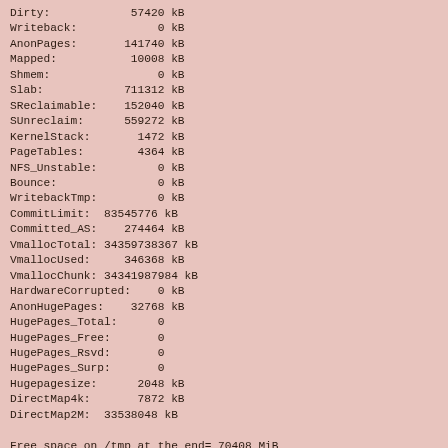Dirty:            57420 kB
Writeback:            0 kB
AnonPages:       141740 kB
Mapped:           10008 kB
Shmem:                0 kB
Slab:            711312 kB
SReclaimable:    152040 kB
SUnreclaim:      559272 kB
KernelStack:       1472 kB
PageTables:        4364 kB
NFS_Unstable:         0 kB
Bounce:               0 kB
WritebackTmp:         0 kB
CommitLimit:  83545776 kB
Committed_AS:    274464 kB
VmallocTotal: 34359738367 kB
VmallocUsed:     346368 kB
VmallocChunk: 34341987984 kB
HardwareCorrupted:    0 kB
AnonHugePages:    32768 kB
HugePages_Total:      0
HugePages_Free:       0
HugePages_Rsvd:       0
HugePages_Surp:       0
Hugepagesize:      2048 kB
DirectMap4k:       7872 kB
DirectMap2M:  33538048 kB

Free space on /tmp at the end= 70408 MiB
End job on node119 at 2012-06-08 19:43:24